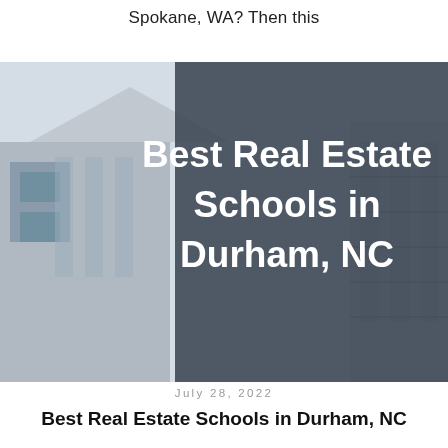Spokane, WA? Then this
[Figure (photo): Hero image of modern real estate buildings with a dark semi-transparent overlay containing the article title 'Best Real Estate Schools in Durham, NC']
July 28, 2022
Best Real Estate Schools in Durham, NC
Calling all aspiring real estate agents in Durham, NC... You're probably looking for an approved,